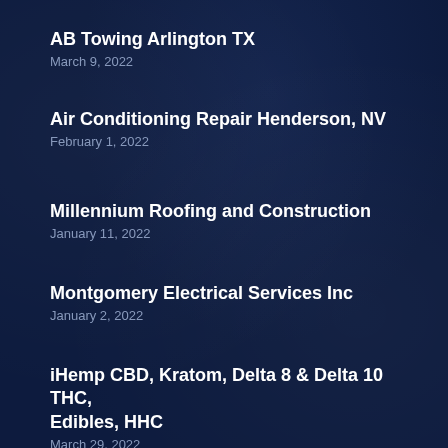AB Towing Arlington TX
March 9, 2022
Air Conditioning Repair Henderson, NV
February 1, 2022
Millennium Roofing and Construction
January 11, 2022
Montgomery Electrical Services Inc
January 2, 2022
iHemp CBD, Kratom, Delta 8 & Delta 10 THC, Edibles, HHC
March 29, 2022